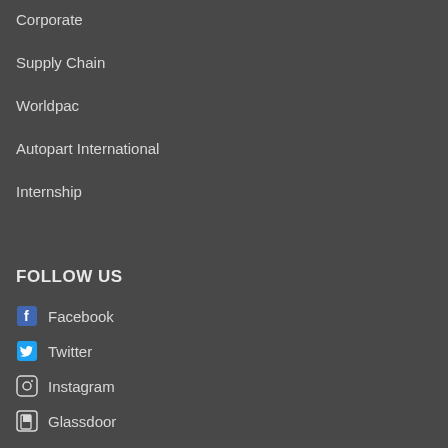Corporate
Supply Chain
Worldpac
Autopart International
Internship
FOLLOW US
Facebook
Twitter
Instagram
Glassdoor